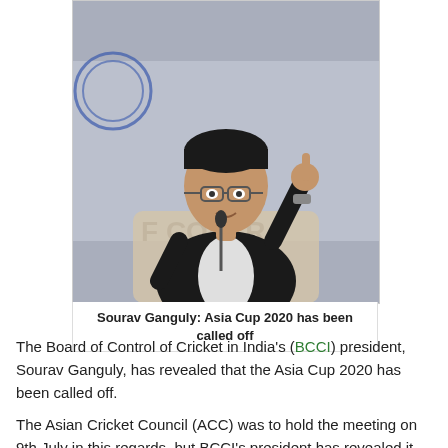[Figure (photo): Sourav Ganguly seated at a press conference in front of BCCI logo backdrop, wearing a black suit, gesturing with raised index finger, microphone in front of him.]
Sourav Ganguly: Asia Cup 2020 has been called off
The Board of Control of Cricket in India's (BCCI) president, Sourav Ganguly, has revealed that the Asia Cup 2020 has been called off.
The Asian Cricket Council (ACC) was to hold the meeting on 9th July in this regards, but BCCI's president has revealed it before the official announcement was declared.
As the decision on Asia Cup was still deferred by the council, it was not sure whether the tournament would